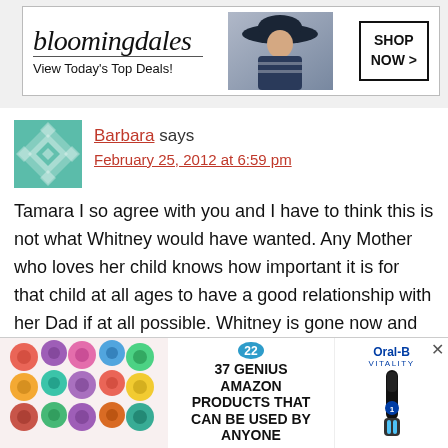[Figure (screenshot): Bloomingdale's advertisement banner: logo text, 'View Today's Top Deals!', model with hat, SHOP NOW button]
Barbara says
February 25, 2012 at 6:59 pm
Tamara I so agree with you and I have to think this is not what Whitney would have wanted. Any Mother who loves her child knows how important it is for that child at all ages to have a good relationship with her Dad if at all possible. Whitney is gone now and Bobbi Kristina needs her Dad. This was a huge funeral and a big family so the logic of three rows for fam
[Figure (screenshot): Bottom advertisement: scrunchies image, '22 - 37 GENIUS AMAZON PRODUCTS THAT CAN BE USED BY ANYONE', Oral-B Vitality toothbrush ad with close button]